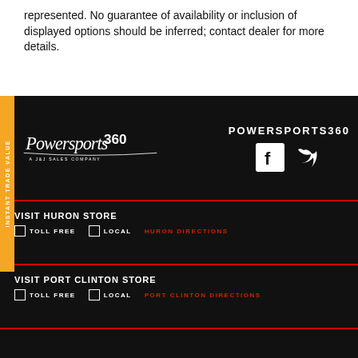represented. No guarantee of availability or inclusion of displayed options should be inferred; contact dealer for more details.
[Figure (logo): Powersports360 A J&J Sales Company logo in white on black background with social media icons (Facebook, Twitter) and brand name POWERSPORTS360]
VISIT HURON STORE
TOLL FREE  LOCAL  HURON DIRECTIONS
VISIT PORT CLINTON STORE
TOLL FREE  LOCAL  PORT CLINTON DIRECTIONS